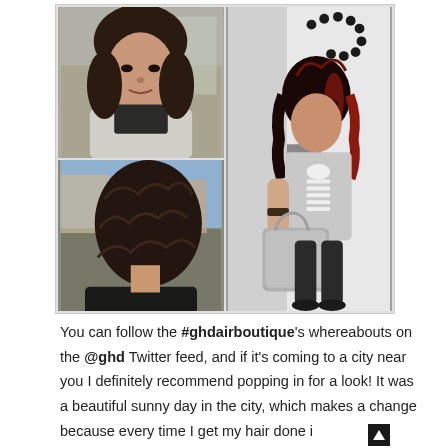[Figure (photo): Collage of three photos showing a woman's hair makeover. Top left: woman with dark wavy hair with bangs, facing camera outdoors. Bottom left: back view of woman with long dark curly hair. Right: full-length photo of woman with red-highlighted wavy hair wearing skeleton-print shirt and holding a grey bag, standing near a branded hair boutique vehicle.]
You can follow the #ghdairboutique's whereabouts on the @ghd Twitter feed, and if it's coming to a city near you I definitely recommend popping in for a look! It was a beautiful sunny day in the city, which makes a change because every time I get my hair done i